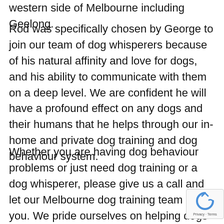western side of Melbourne including Geelong.
Rod was specifically chosen by George to join our team of dog whisperers because of his natural affinity and love for dogs, and his ability to communicate with them on a deep level. We are confident he will have a profound effect on any dogs and their humans that he helps through our in-home and private dog training and dog behaviour system.
Whether you are having dog behaviour problems or just need dog training or a dog whisperer, please give us a call and let our Melbourne dog training team help you. We pride ourselves on helping dogs that are deemed trainable or difficult by other dog trainers and dog behaviourists. Our natural and calm dog